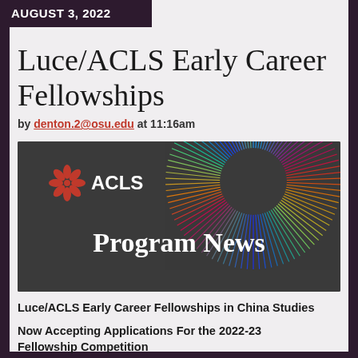AUGUST 3, 2022
Luce/ACLS Early Career Fellowships
by denton.2@osu.edu at 11:16am
[Figure (illustration): ACLS Program News banner image with dark background, ACLS logo with red snowflake icon on the left, and a colorful radial sunburst pattern on the right in blues, purples, reds, oranges and yellows. Large white text reads 'Program News' in serif font.]
Luce/ACLS Early Career Fellowships in China Studies
Now Accepting Applications For the 2022-23 Fellowship Competition